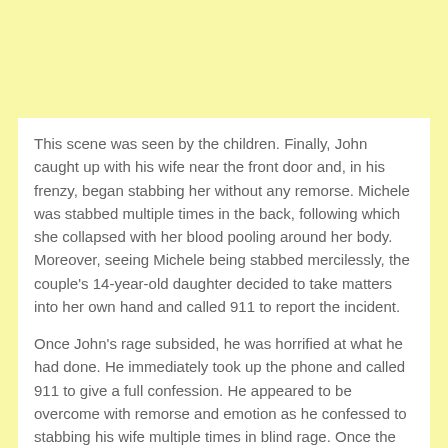This scene was seen by the children. Finally, John caught up with his wife near the front door and, in his frenzy, began stabbing her without any remorse. Michele was stabbed multiple times in the back, following which she collapsed with her blood pooling around her body. Moreover, seeing Michele being stabbed mercilessly, the couple's 14-year-old daughter decided to take matters into her own hand and called 911 to report the incident.
Once John's rage subsided, he was horrified at what he had done. He immediately took up the phone and called 911 to give a full confession. He appeared to be overcome with remorse and emotion as he confessed to stabbing his wife multiple times in blind rage. Once the police arrived, they immediately took John into custody without any incident.